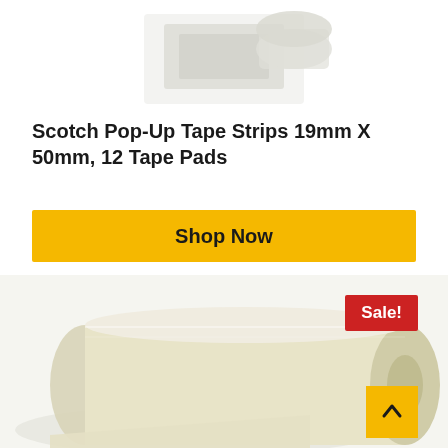[Figure (photo): Scotch Pop-Up Tape Strips product photo showing tape dispenser pads from above]
Scotch Pop-Up Tape Strips 19mm X 50mm, 12 Tape Pads
Shop Now
[Figure (photo): Large roll of beige/cream colored tape on white background with Sale! badge in red]